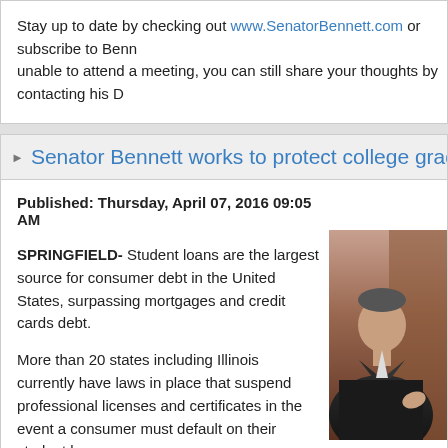Stay up to date by checking out www.SenatorBennett.com or subscribe to Benn… unable to attend a meeting, you can still share your thoughts by contacting his D…
Senator Bennett works to protect college grad…
Published: Thursday, April 07, 2016 09:05 AM
SPRINGFIELD- Student loans are the largest source for consumer debt in the United States, surpassing mortgages and credit cards debt.
More than 20 states including Illinois currently have laws in place that suspend professional licenses and certificates in the event a consumer must default on their student loans.
State Senator Scott Bennett (D-Champaign) advanced an initiative to prevent licensing boards from denying, revoking or suspending individual professional licenses due to student loan default in Illinois.
[Figure (photo): Photo of Senator Scott Bennett speaking]